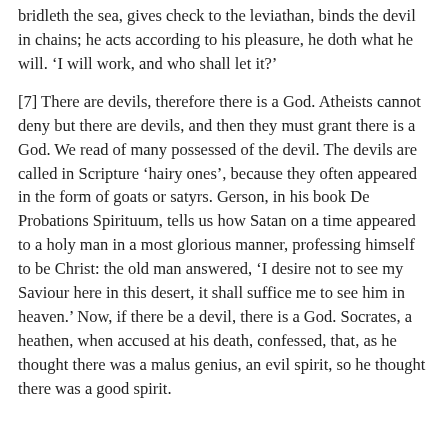bridleth the sea, gives check to the leviathan, binds the devil in chains; he acts according to his pleasure, he doth what he will. ‘I will work, and who shall let it?’
[7] There are devils, therefore there is a God. Atheists cannot deny but there are devils, and then they must grant there is a God. We read of many possessed of the devil. The devils are called in Scripture ‘hairy ones’, because they often appeared in the form of goats or satyrs. Gerson, in his book De Probations Spirituum, tells us how Satan on a time appeared to a holy man in a most glorious manner, professing himself to be Christ: the old man answered, ‘I desire not to see my Saviour here in this desert, it shall suffice me to see him in heaven.’ Now, if there be a devil, there is a God. Socrates, a heathen, when accused at his death, confessed, that, as he thought there was a malus genius, an evil spirit, so he thought there was a good spirit.